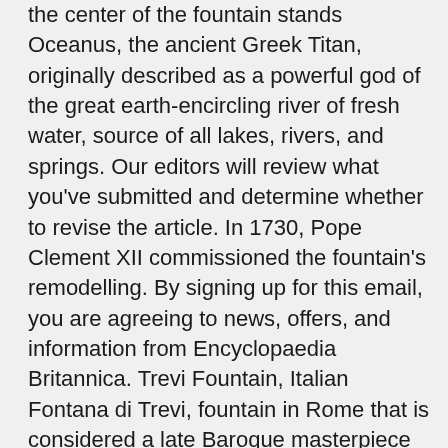the center of the fountain stands Oceanus, the ancient Greek Titan, originally described as a powerful god of the great earth-encircling river of fresh water, source of all lakes, rivers, and springs. Our editors will review what you've submitted and determine whether to revise the article. In 1730, Pope Clement XII commissioned the fountain's remodelling. By signing up for this email, you are agreeing to news, offers, and information from Encyclopaedia Britannica. Trevi Fountain, Italian Fontana di Trevi, fountain in Rome that is considered a late Baroque masterpiece and is arguably the best known of the city's numerous fountains. The “Trevi Fountain” we know today was built during the 18th century, being the artist of the work Nicola Salvi and completed by the architect Giuseppe Pannini. The fountain was completed in the year 1762. Click to share on Twitter (Opens in new window), Click to share on Facebook (Opens in new window). Though Bernini's project was never constructed, there are many Bernini touches in the fountain as it exists today. The statues in the center of the Trevi Fountain are Oceanus standing over two hippocamps (half horse-half fish) who are in turn being led by tritons, or gods of the